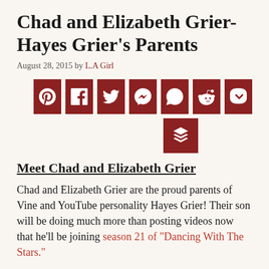Chad and Elizabeth Grier- Hayes Grier's Parents
August 28, 2015 by L.A Girl
[Figure (infographic): Row of 7 social sharing buttons (Pinterest, Facebook, Twitter, Messenger, WhatsApp, Reddit, Pocket) and one additional buffer/stacking icon below, all in dark red square buttons with white icons.]
Meet Chad and Elizabeth Grier
Chad and Elizabeth Grier are the proud parents of Vine and YouTube personality Hayes Grier! Their son will be doing much more than posting videos now that he'll be joining season 21 of "Dancing With The Stars."